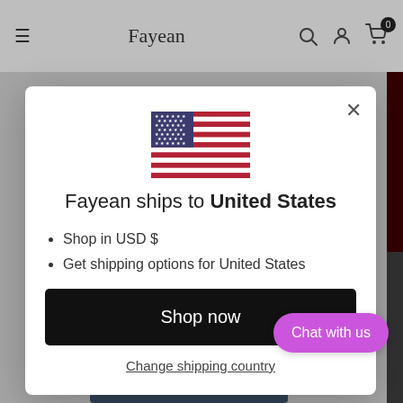Fayean
[Figure (screenshot): Modal dialog on the Fayean e-commerce website showing a US flag icon, text 'Fayean ships to United States', bullet points about USD and shipping, a 'Shop now' button, and a 'Change shipping country' link. A purple 'Chat with us' button appears in the bottom right.]
Fayean ships to United States
Shop in USD $
Get shipping options for United States
Shop now
Change shipping country